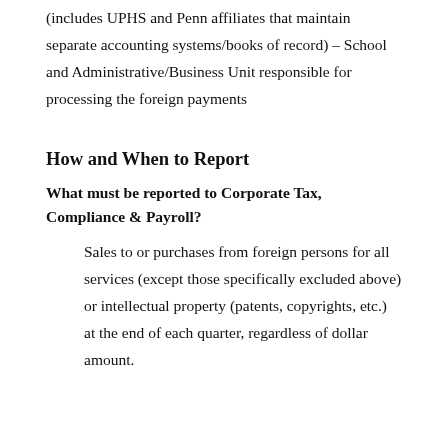(includes UPHS and Penn affiliates that maintain separate accounting systems/books of record) – School and Administrative/Business Unit responsible for processing the foreign payments
How and When to Report
What must be reported to Corporate Tax, Compliance & Payroll?
Sales to or purchases from foreign persons for all services (except those specifically excluded above) or intellectual property (patents, copyrights, etc.) at the end of each quarter, regardless of dollar amount.